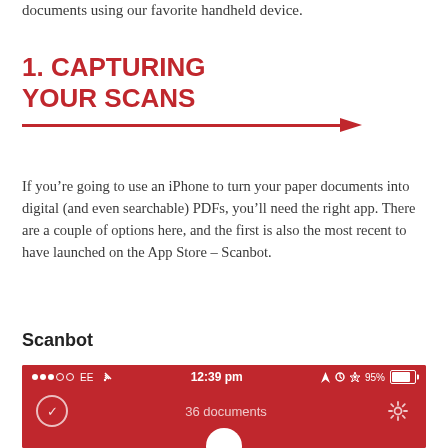documents using our favorite handheld device.
1. CAPTURING YOUR SCANS
If you're going to use an iPhone to turn your paper documents into digital (and even searchable) PDFs, you'll need the right app. There are a couple of options here, and the first is also the most recent to have launched on the App Store – Scanbot.
Scanbot
[Figure (screenshot): iPhone app screenshot showing Scanbot app interface with red status bar displaying '12:39 pm', '95%', 'EE' carrier, and the app home screen showing '36 documents' with a checkmark icon and settings gear icon.]